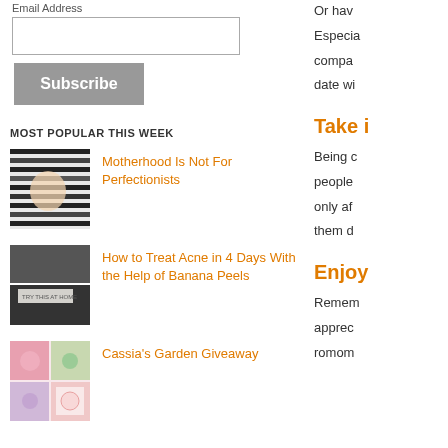Email Address
[email input field]
Subscribe
MOST POPULAR THIS WEEK
[Figure (photo): Baby wrapped in black and white striped fabric]
Motherhood Is Not For Perfectionists
[Figure (photo): Banana peel on dark background with text overlay]
How to Treat Acne in 4 Days With the Help of Banana Peels
[Figure (photo): Collage of garden items, flowers, pink and white products]
Cassia's Garden Giveaway
Or hav
Especia
compa
date wi
Take i
Being c
people
only af
them d
Enjoy
Remem
apprec
romom